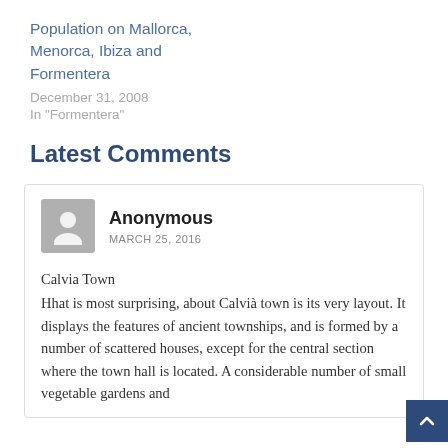Population on Mallorca, Menorca, Ibiza and Formentera
December 31, 2008
In "Formentera"
Latest Comments
Anonymous
MARCH 25, 2016
Calvia Town
Hhat is most surprising, about Calvià town is its very layout. It displays the features of ancient townships, and is formed by a number of scattered houses, except for the central section where the town hall is located. A considerable number of small vegetable gardens and